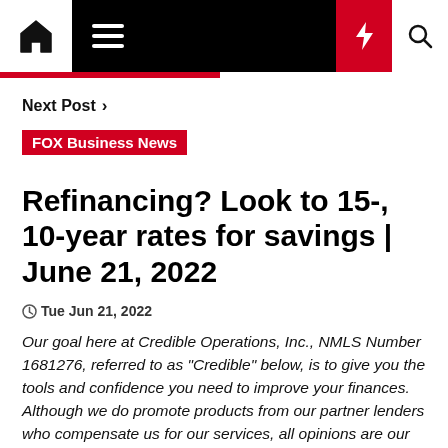Navigation bar with home, menu, bolt, and search icons
Next Post >
FOX Business News
Refinancing? Look to 15-, 10-year rates for savings | June 21, 2022
Tue Jun 21, 2022
Our goal here at Credible Operations, Inc., NMLS Number 1681276, referred to as "Credible" below, is to give you the tools and confidence you need to improve your finances. Although we do promote products from our partner lenders who compensate us for our services, all opinions are our own. (Credible) [...]